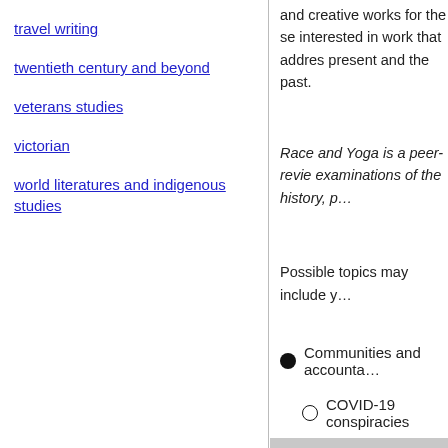travel writing
twentieth century and beyond
veterans studies
victorian
world literatures and indigenous studies
and creative works for the se... interested in work that addres... present and the past.
Race and Yoga is a peer-revie... examinations of the history, p...
Possible topics may include y...
Communities and accounta...
COVID-19 conspiracies